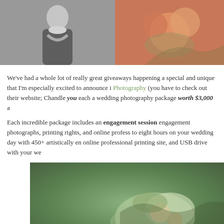[Figure (photo): Black and white photo of a couple, partially cropped at top]
[Figure (photo): Color photo of a floral bouquet with orange and pink flowers]
We've had a whole lot of really great giveaways happening a special and unique that I'm especially excited to announce i Photography (you have to check out their website; Chandl you each a wedding photography package worth $3,000 a
Each incredible package includes an engagement session engagement photographs, printing rights, and online profess to eight hours on your wedding day with 450+ artistically en online professional printing site, and USB drive with your we
[Figure (photo): Color photo of a floral bouquet with greenery and white flowers, blurred background]